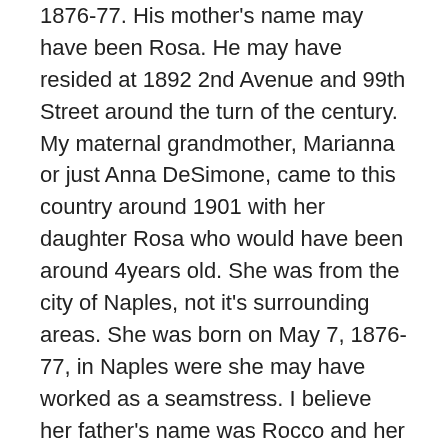1876-77. His mother's name may have been Rosa. He may have resided at 1892 2nd Avenue and 99th Street around the turn of the century. My maternal grandmother, Marianna or just Anna DeSimone, came to this country around 1901 with her daughter Rosa who would have been around 4years old. She was from the city of Naples, not it's surrounding areas. She was born on May 7, 1876-77, in Naples were she may have worked as a seamstress. I believe her father's name was Rocco and her mother's, Maddalena. What with all the vagaries of name spelling and hand writing, I've had no luck finding them on any ship manifests. I faxed a letter to the mayor of Arpaia, whose last name was Fucci, asking for advice on researching the family background in